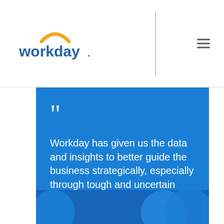[Figure (logo): Workday logo with orange arc and blue text]
Workday has given us the data and insights to better guide the business strategically, especially through tough and uncertain times, and do so much faster.
Vice President, Financial Planning and Analysis